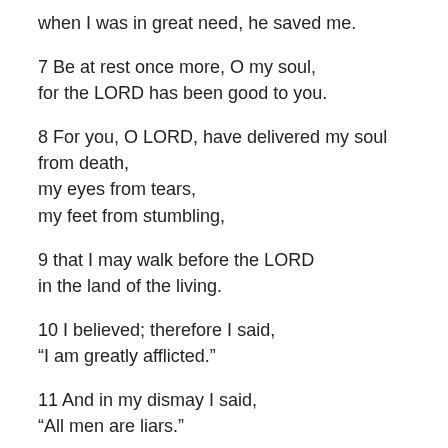when I was in great need, he saved me.
7 Be at rest once more, O my soul,
for the LORD has been good to you.
8 For you, O LORD, have delivered my soul from death,
my eyes from tears,
my feet from stumbling,
9 that I may walk before the LORD
in the land of the living.
10 I believed; therefore I said,
“I am greatly afflicted.”
11 And in my dismay I said,
“All men are liars.”
12 How can I repay the LORD